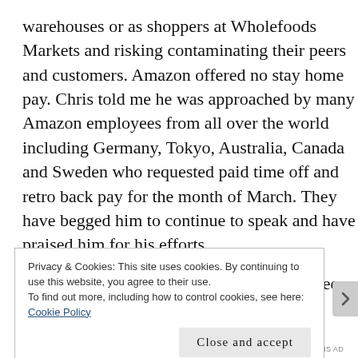warehouses or as shoppers at Wholefoods Markets and risking contaminating their peers and customers. Amazon offered no stay home pay.  Chris told me he was approached by many Amazon employees from all over the world including Germany, Tokyo, Australia, Canada and Sweden who requested paid time off and retro back pay for the month of March.  They have begged him to continue to speak and have praised him for his efforts.
Where I work many of us Amazon employees wonder if this virus is so deadly, and from many accounts it is, why
Privacy & Cookies: This site uses cookies. By continuing to use this website, you agree to their use.
To find out more, including how to control cookies, see here: Cookie Policy
Close and accept